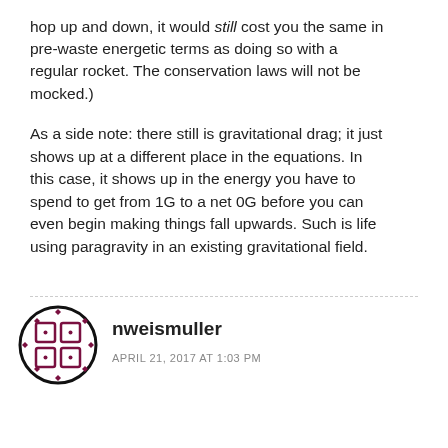hop up and down, it would still cost you the same in pre-waste energetic terms as doing so with a regular rocket. The conservation laws will not be mocked.)
As a side note: there still is gravitational drag; it just shows up at a different place in the equations. In this case, it shows up in the energy you have to spend to get from 1G to a net 0G before you can even begin making things fall upwards. Such is life using paragravity in an existing gravitational field.
nweismuller
APRIL 21, 2017 AT 1:03 PM